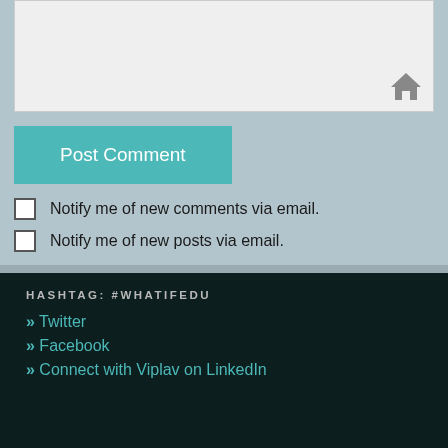[Figure (screenshot): A website URL/website input field with a house/home icon in the bottom right corner, light gray background]
Post Comment
Notify me of new comments via email.
Notify me of new posts via email.
HASHTAG: #WHATIFEDU
» Twitter
» Facebook
» Connect with Viplav on LinkedIn